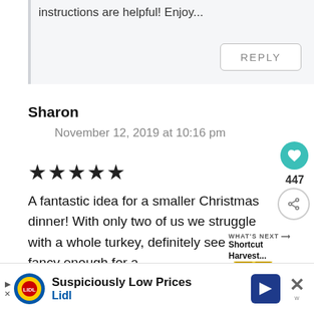instructions are helpful! Enjoy...
REPLY
Sharon
November 12, 2019 at 10:16 pm
★★★★★
A fantastic idea for a smaller Christmas dinner! With only two of us we struggle with a whole turkey, definitely seems fancy enough for a
[Figure (infographic): Floating circular food image (seeds/spices) with WHAT'S NEXT label and Shortcut Harvest... text overlay]
[Figure (infographic): Lidl advertisement banner: Suspiciously Low Prices, Lidl logo, navigation arrow icon, close button]